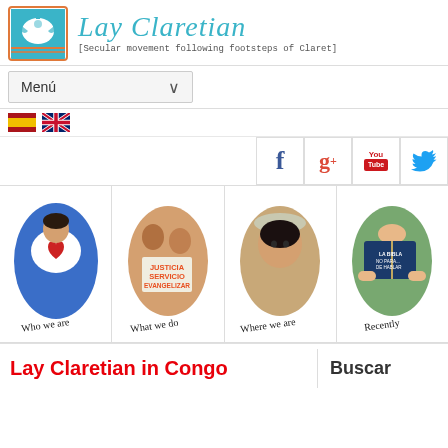Lay Claretian [Secular movement following footsteps of Claret]
[Figure (screenshot): Navigation menu dropdown with Menú label and arrow]
[Figure (screenshot): Spanish and UK flag icons for language selection]
[Figure (screenshot): Social media icons: Facebook, Google+, YouTube, Twitter]
[Figure (illustration): Four oval illustrated cards: Who we are (heart/blue figure), What we do (Justicia Servicio Evangelizar sign), Where we are (woman figure), Recently (person reading La Biblia book)]
Lay Claretian in Congo
Buscar